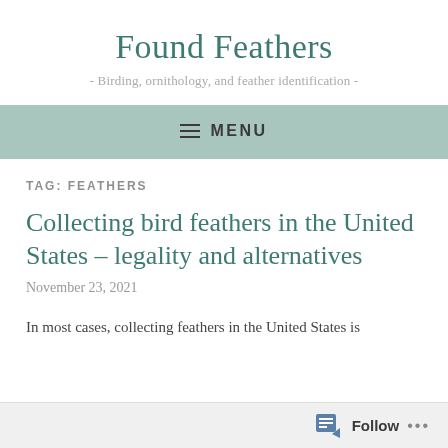Found Feathers
- Birding, ornithology, and feather identification -
≡ MENU
TAG: FEATHERS
Collecting bird feathers in the United States – legality and alternatives
November 23, 2021
In most cases, collecting feathers in the United States is
Follow ...